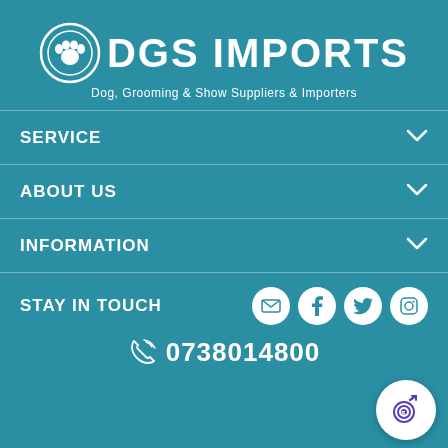[Figure (logo): DGS Imports logo with paw print icon and text: DGS IMPORTS, Dog, Grooming & Show Suppliers & Importers]
SERVICE
ABOUT US
INFORMATION
STAY IN TOUCH
0738014800